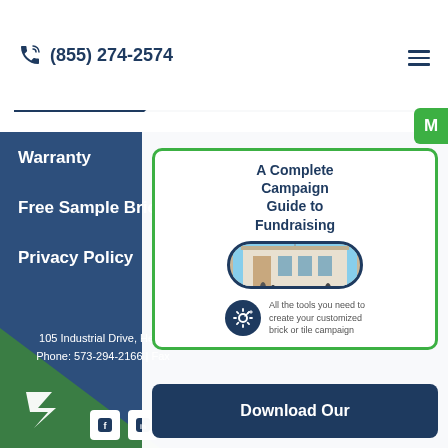(855) 274-2574
Warranty
Free Sample Brick
Privacy Policy
Online Order
105 Industrial Drive, Herm... | Phone: 573-294-2166 | Fax...
[Figure (infographic): A Complete Campaign Guide to Fundraising card with green border. Shows title in bold blue text, oval building photo, gear/pencil icon, and descriptive text 'All the tools you need to create your customized brick or tile campaign']
Download Our
[Figure (logo): White stylized letter B logo on blue background]